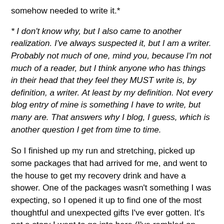somehow needed to write it.*
* I don't know why, but I also came to another realization. I've always suspected it, but I am a writer. Probably not much of one, mind you, because I'm not much of a reader, but I think anyone who has things in their head that they feel they MUST write is, by definition, a writer. At least by my definition. Not every blog entry of mine is something I have to write, but many are. That answers why I blog, I guess, which is another question I get from time to time.
So I finished up my run and stretching, picked up some packages that had arrived for me, and went to the house to get my recovery drink and have a shower. One of the packages wasn't something I was expecting, so I opened it up to find one of the most thoughtful and unexpected gifts I've ever gotten. It's not a story I want to go into here (I've rambled on long enough), but I'm truly blessed to have such great friends in this life. Then it was off to a wonderful dinner with my family and our “exchange student”, Chris. I tried to make up for the cheeseburgers and shake by having the blackened salmon salad, but then went awry again with a